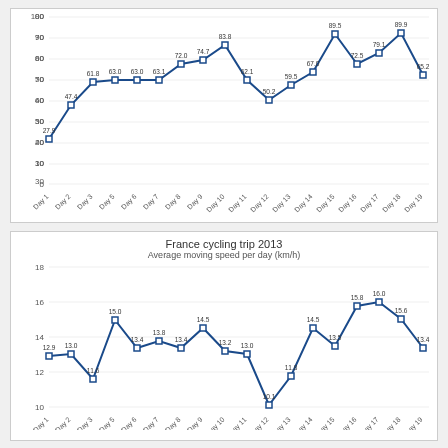[Figure (line-chart): ]
[Figure (line-chart): France cycling trip 2013]